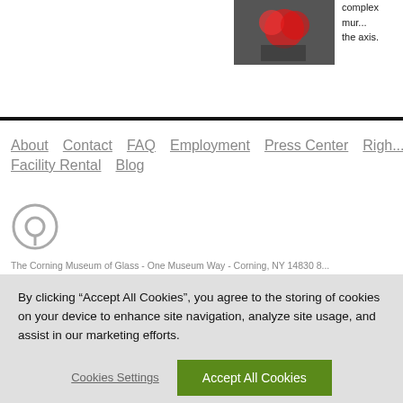[Figure (photo): Red glass artwork photo, partially visible]
complex mur... the axis.
About  Contact  FAQ  Employment  Press Center  Rights  Facility Rental  Blog
The Corning Museum of Glass - One Museum Way - Corning, NY 14830 8... © 2002 - Corning Museum of Glass. All Rights Reserved. Privacy Policy | ...
Visitor Information In: 한국어 | Español | 日本語 | Français | Italiano | Deutsch | 中文 | עברית | Русс...
By clicking "Accept All Cookies", you agree to the storing of cookies on your device to enhance site navigation, analyze site usage, and assist in our marketing efforts.
Cookies Settings    Accept All Cookies